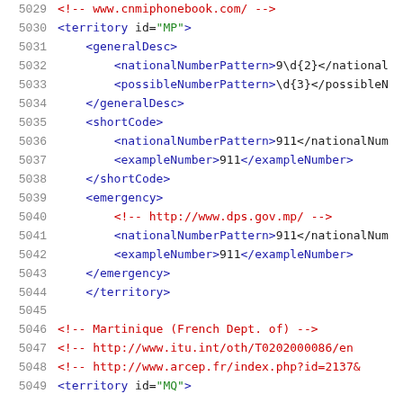5029  <!-- www.cnmiphonebook.com/ -->
5030  <territory id="MP">
5031    <generalDesc>
5032      <nationalNumberPattern>9\d{2}</nationalNumberPattern>
5033      <possibleNumberPattern>\d{3}</possibleNumberPattern>
5034    </generalDesc>
5035    <shortCode>
5036      <nationalNumberPattern>911</nationalNumberPattern>
5037      <exampleNumber>911</exampleNumber>
5038    </shortCode>
5039    <emergency>
5040      <!-- http://www.dps.gov.mp/ -->
5041      <nationalNumberPattern>911</nationalNumberPattern>
5042      <exampleNumber>911</exampleNumber>
5043    </emergency>
5044  </territory>
5045
5046  <!-- Martinique (French Dept. of) -->
5047  <!-- http://www.itu.int/oth/T0202000086/en
5048  <!-- http://www.arcep.fr/index.php?id=2137&
5049  <territory id="MQ">